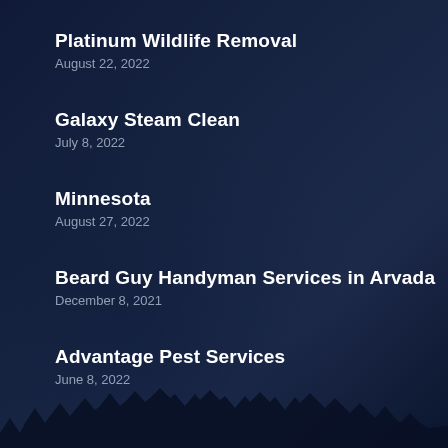Platinum Wildlife Removal
August 22, 2022
Galaxy Steam Clean
July 8, 2022
Minnesota
August 27, 2022
Beard Guy Handyman Services in Arvada
December 8, 2021
Advantage Pest Services
June 8, 2022